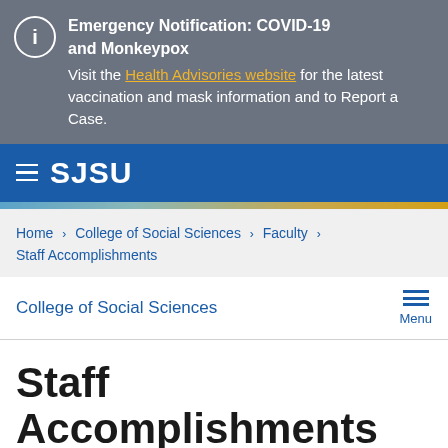Emergency Notification: COVID-19 and Monkeypox. Visit the Health Advisories website for the latest vaccination and mask information and to Report a Case.
SJSU
Home > College of Social Sciences > Faculty > Staff Accomplishments
College of Social Sciences
Staff Accomplishments
SJSU 2020-2021